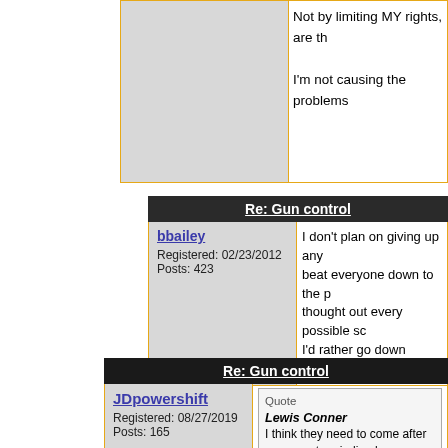Not by limiting MY rights, are th
I'm not causing the problems
Re: Gun control
bbailey
Registered: 02/23/2012
Posts: 423
I don't plan on giving up any beat everyone down to the p thought out every possible sc I'd rather go down fightin tha
Re: Gun control
JDpowershift
Registered: 08/27/2019
Posts: 165
Quote
Lewis Conner
I think they need to come after our gu not prejudiced are becoming prejudic crimes .I was tought in school to coop they teach in school wow its going to
All the "bull crap" isn't going to sto The anti gun side simply hates gu Policies based on emotion , feelin
Edited 1 time(s). Last edit at 04/17